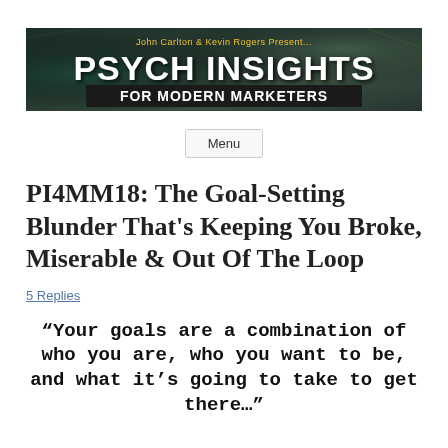[Figure (logo): Psych Insights For Modern Marketers banner with text 'John Carlton & Kevin Rogers Present... PSYCH INSIGHTS FOR MODERN MARKETERS' on dark textured background]
Menu
PI4MM18: The Goal-Setting Blunder That's Keeping You Broke, Miserable & Out Of The Loop
5 Replies
“Your goals are a combination of who you are, who you want to be, and what it’s going to take to get there…”